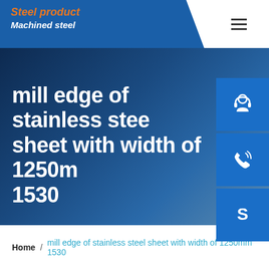Steel product / Machined steel
mill edge of stainless steel sheet with width of 1250mm 1530
[Figure (screenshot): Three blue sidebar icon buttons: customer service headset icon, phone/call icon, and Skype icon]
Home / mill edge of stainless steel sheet with width of 1250mm 1530